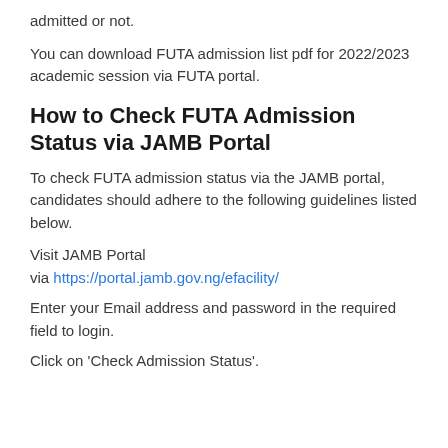admitted or not.
You can download FUTA admission list pdf for 2022/2023 academic session via FUTA portal.
How to Check FUTA Admission Status via JAMB Portal
To check FUTA admission status via the JAMB portal, candidates should adhere to the following guidelines listed below.
Visit JAMB Portal via https://portal.jamb.gov.ng/efacility/
Enter your Email address and password in the required field to login.
Click on 'Check Admission Status'.